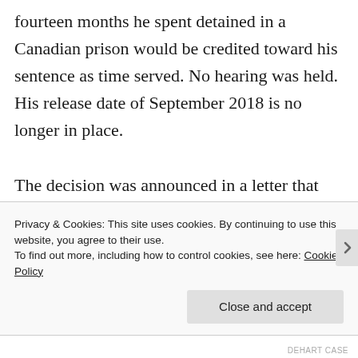fourteen months he spent detained in a Canadian prison would be credited toward his sentence as time served. No hearing was held. His release date of September 2018 is no longer in place.
The decision was announced in a letter that neither acknowledges DeHart's right to due process nor concedes that he has been
Privacy & Cookies: This site uses cookies. By continuing to use this website, you agree to their use.
To find out more, including how to control cookies, see here: Cookie Policy
Close and accept